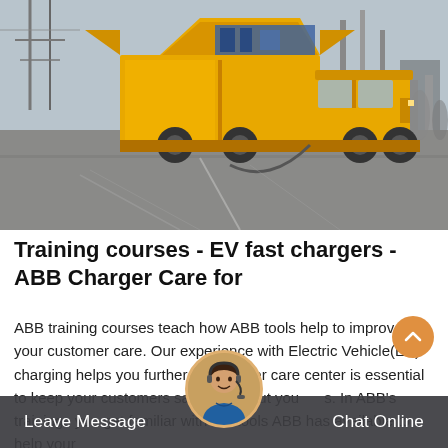[Figure (photo): Yellow utility truck with open equipment compartments parked in an industrial/substation yard with electrical infrastructure visible in background]
Training courses - EV fast chargers - ABB Charger Care for
ABB training courses teach how ABB tools help to improve your customer care. Our experience with Electric Vehicle(EV) charging helps you further. Your driver care center is essential to keep your customers satisfied about you s. In ABB's trainings you get familiar with the tools ABB has available to help your